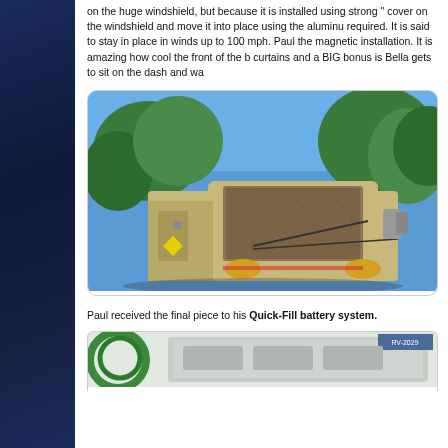on the huge windshield, but because it is installed using strong "..." cover on the windshield and move it into place using the aluminu... required. It is said to stay in place in winds up to 100 mph. Paul ... the magnetic installation. It is amazing how cool the front of the b... curtains and a BIG bonus is Bella gets to sit on the dash and wa...
[Figure (photo): Front view of a motorhome/RV with a windshield cover installed, parked outdoors with trees and blue sky in the background.]
Paul received the final piece to his Quick-Fill battery system.
[Figure (photo): Partial view of what appears to be a battery or equipment box, partially visible at the bottom of the page, with a green hose or cable visible.]